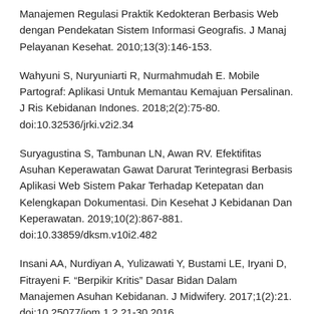Manajemen Regulasi Praktik Kedokteran Berbasis Web dengan Pendekatan Sistem Informasi Geografis. J Manaj Pelayanan Kesehat. 2010;13(3):146-153.
Wahyuni S, Nuryuniarti R, Nurmahmudah E. Mobile Partograf: Aplikasi Untuk Memantau Kemajuan Persalinan. J Ris Kebidanan Indones. 2018;2(2):75-80. doi:10.32536/jrki.v2i2.34
Suryagustina S, Tambunan LN, Awan RV. Efektifitas Asuhan Keperawatan Gawat Darurat Terintegrasi Berbasis Aplikasi Web Sistem Pakar Terhadap Ketepatan dan Kelengkapan Dokumentasi. Din Kesehat J Kebidanan Dan Keperawatan. 2019;10(2):867-881. doi:10.33859/dksm.v10i2.482
Insani AA, Nurdiyan A, Yulizawati Y, Bustami LE, Iryani D, Fitrayeni F. “Berpikir Kritis” Dasar Bidan Dalam Manajemen Asuhan Kebidanan. J Midwifery. 2017;1(2):21. doi:10.25077/jom.1.2.21-30.2016